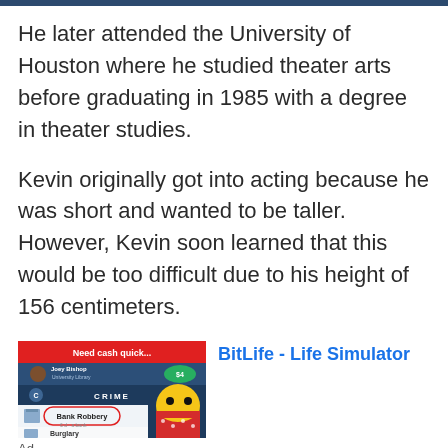He later attended the University of Houston where he studied theater arts before graduating in 1985 with a degree in theater studies.
Kevin originally got into acting because he was short and wanted to be taller. However, Kevin soon learned that this would be too difficult due to his height of 156 centimeters.
[Figure (screenshot): Advertisement for BitLife - Life Simulator mobile game showing a game interface with 'Need cash quick...' banner, a character named Joey Bishop, and crime options including Bank Robbery and Burglary.]
Ad